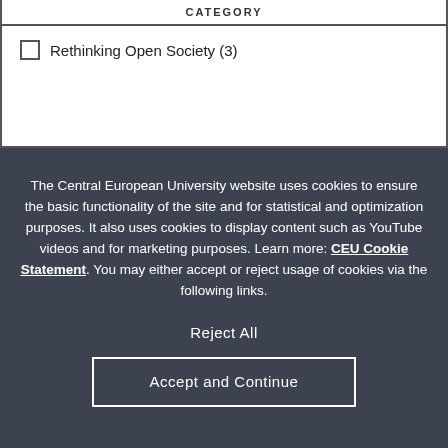CATEGORY
Rethinking Open Society (3)
The Central European University website uses cookies to ensure the basic functionality of the site and for statistical and optimization purposes. It also uses cookies to display content such as YouTube videos and for marketing purposes. Learn more: CEU Cookie Statement. You may either accept or reject usage of cookies via the following links.
Reject All
Accept and Continue